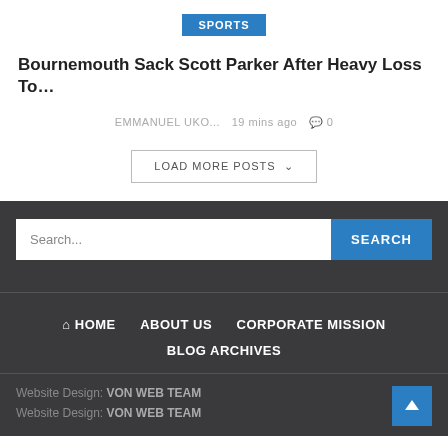SPORTS
Bournemouth Sack Scott Parker After Heavy Loss To...
EMMANUEL UKO...   19 mins ago   0
LOAD MORE POSTS
Search...  SEARCH
HOME   ABOUT US   CORPORATE MISSION   BLOG ARCHIVES
Website Design: VON WEB TEAM
Website Design: VON WEB TEAM